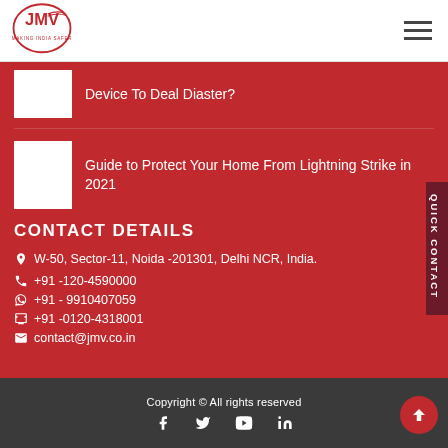[Figure (logo): JMV logo - oval shaped with JMV text and 'Making India Safer' tagline]
Device To Deal Diaster?
Guide to Protect Your Home From Lightning Strike in 2021
CONTACT DETAILS
W-50, Sector-11, Noida -201301, Delhi NCR, India.
+91 -120-4590000
+91 - 9910407059
+91 -0120-4318001
contact@jmv.co.in
Copyright © All rights reserved